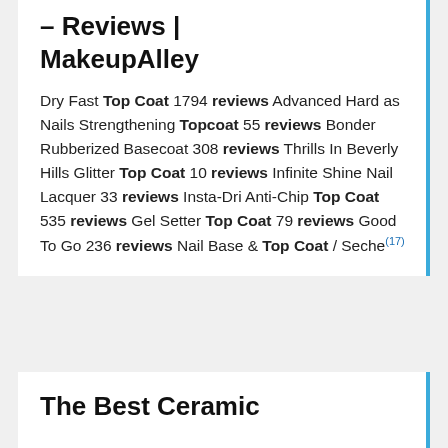– Reviews | MakeupAlley
Dry Fast Top Coat 1794 reviews Advanced Hard as Nails Strengthening Topcoat 55 reviews Bonder Rubberized Basecoat 308 reviews Thrills In Beverly Hills Glitter Top Coat 10 reviews Infinite Shine Nail Lacquer 33 reviews Insta-Dri Anti-Chip Top Coat 535 reviews Gel Setter Top Coat 79 reviews Good To Go 236 reviews Nail Base & Top Coat / Seche(17)
The Best Ceramic